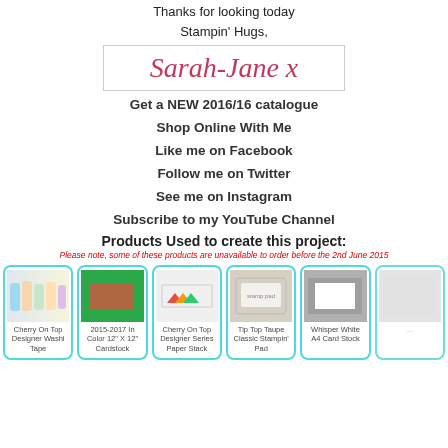Thanks for looking today
Stampin' Hugs,
[Figure (illustration): Handwritten signature reading 'Sarah-Jane x' in cursive pink/red script inside a bordered box]
Get a NEW 2016/16 catalogue
Shop Online With Me
Like me on Facebook
Follow me on Twitter
See me on Instagram
Subscribe to my YouTube Channel
Products Used to create this project:
Please note, some of these products are unavailable to order before the 2nd June 2015
[Figure (photo): Cherry On Top Designer Washi Tape product image]
[Figure (photo): 2015-2017 In Color 12" X 12" Cardstock product image]
[Figure (photo): Cherry On Top Designer Series Paper Stack product image]
[Figure (photo): Tip Top Taupe Classic Stampin' Pad product image]
[Figure (photo): Whisper White A4 Card Stock product image]